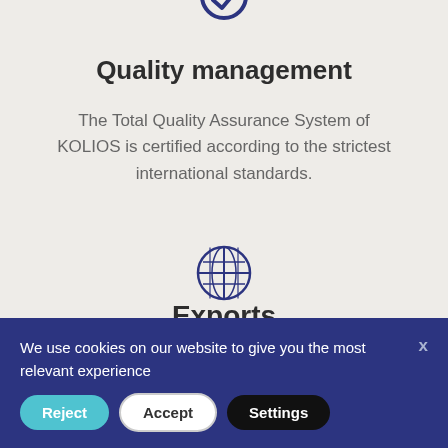[Figure (illustration): Partial shield/checkmark icon at top of page (partially cropped)]
Quality management
The Total Quality Assurance System of KOLIOS is certified according to the strictest international standards.
[Figure (illustration): Globe/world icon with grid lines in dark navy blue]
Exports
We use cookies on our website to give you the most relevant experience
Reject  Accept  Settings